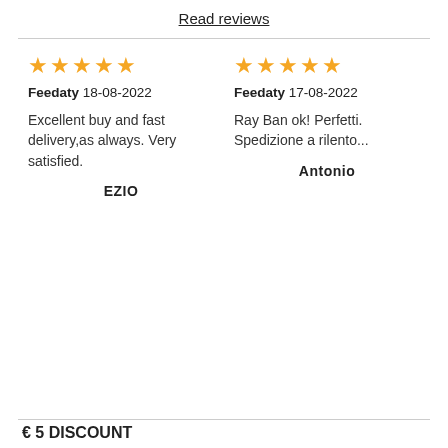Read reviews
★★★★★ Feedaty 18-08-2022
Excellent buy and fast delivery,as always. Very satisfied.
EZIO
★★★★★ Feedaty 17-08-2022
Ray Ban ok! Perfetti. Spedizione a rilento...
Antonio
€ 5 DISCOUNT